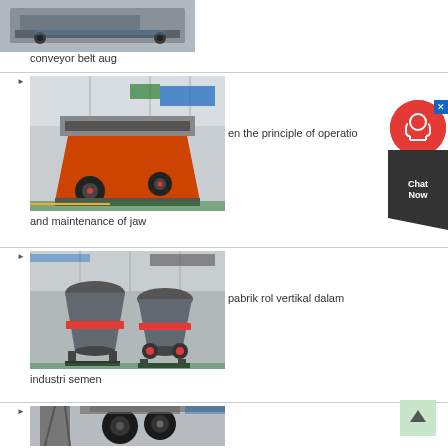[Figure (photo): Conveyor belt machinery in industrial warehouse setting]
conveyor belt aug
[Figure (photo): Large impact crusher / jaw crusher machine in factory]
en the principle of operatio
and maintenance of jaw
[Figure (photo): Vertical roller mill machines in cement industry factory]
pabrik rol vertikal dalam
industri semen
[Figure (photo): Industrial crushing or grinding machinery, partial view at bottom of page]